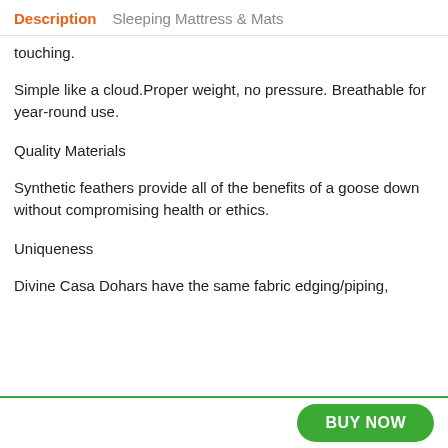Description   Sleeping Mattress & Mats
touching.
Simple like a cloud.Proper weight, no pressure. Breathable for year-round use.
Quality Materials
Synthetic feathers provide all of the benefits of a goose down without compromising health or ethics.
Uniqueness
Divine Casa Dohars have the same fabric edging/piping,
BUY NOW